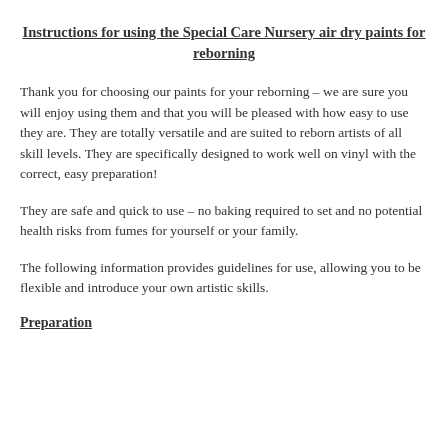Instructions for using the Special Care Nursery air dry paints for reborning
Thank you for choosing our paints for your reborning – we are sure you will enjoy using them and that you will be pleased with how easy to use they are. They are totally versatile and are suited to reborn artists of all skill levels. They are specifically designed to work well on vinyl with the correct, easy preparation!
They are safe and quick to use – no baking required to set and no potential health risks from fumes for yourself or your family.
The following information provides guidelines for use, allowing you to be flexible and introduce your own artistic skills.
Preparation